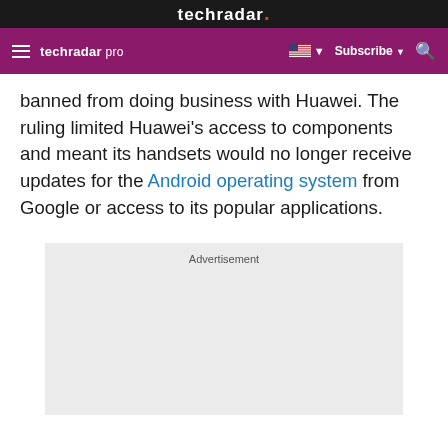techradar.
techradar pro  Subscribe
banned from doing business with Huawei. The ruling limited Huawei’s access to components and meant its handsets would no longer receive updates for the Android operating system from Google or access to its popular applications.
[Figure (other): Advertisement placeholder box with light gray background and 'Advertisement' label at top]